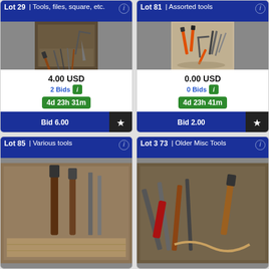Lot 29 | Tools, files, square, etc.
[Figure (photo): Photo of various hand tools including hammers, chisels, files, and a square in a box]
4.00 USD
2 Bids
4d 23h 31m
Bid 6.00
Lot 81 | Assorted tools
[Figure (photo): Photo of assorted tools including pliers, clamps, and other tools with orange handles]
0.00 USD
0 Bids
4d 23h 41m
Bid 2.00
Lot 85 | Various tools
[Figure (photo): Photo of various tools including hammers and other hand tools]
Lot 373 | Older Misc Tools
[Figure (photo): Photo of older miscellaneous tools in a pile]